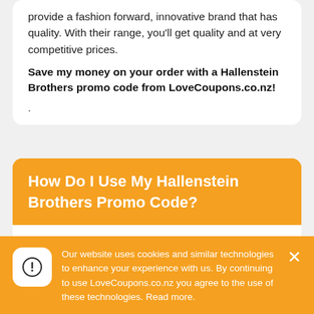provide a fashion forward, innovative brand that has quality. With their range, you'll get quality and at very competitive prices.
Save my money on your order with a Hallenstein Brothers promo code from LoveCoupons.co.nz!
.
How Do I Use My Hallenstein Brothers Promo Code?
If you're looking for a discount on your online purchase at Hallenstein Brothers then you've come to the right place. All you have to do is
Our website uses cookies and similar technologies to enhance your experience with us. By continuing to use LoveCoupons.co.nz you agree to the use of these technologies. Read more.